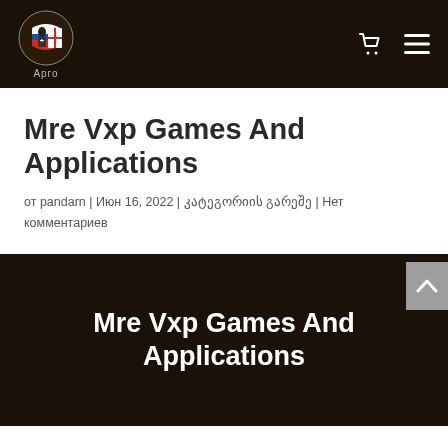Арго — site header with logo and navigation icons
Mre Vxp Games And Applications
от pandarn | Июн 16, 2022 | კატეგორიის გარეშე | Нет комментариев
[Figure (screenshot): Dark banner section with centered heading 'Mre Vxp Games And Applications' in white bold text on dark brown/black background]
Mre Vxp Games And Applications